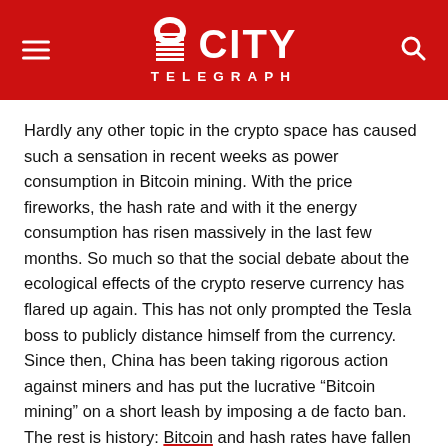CITY TELEGRAPH
Hardly any other topic in the crypto space has caused such a sensation in recent weeks as power consumption in Bitcoin mining. With the price fireworks, the hash rate and with it the energy consumption has risen massively in the last few months. So much so that the social debate about the ecological effects of the crypto reserve currency has flared up again. This has not only prompted the Tesla boss to publicly distance himself from the currency. Since then, China has been taking rigorous action against miners and has put the lucrative “Bitcoin mining” on a short leash by imposing a de facto ban. The rest is history: Bitcoin and hash rates have fallen by 50 percent since their all-time high in mid-May.
The fact that power consumption has logically decreased significantly with the decrease in the hash rate has so far been